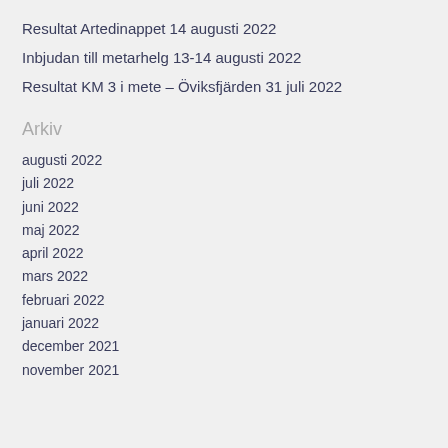Resultat Artedinappet 14 augusti 2022
Inbjudan till metarhelg 13-14 augusti 2022
Resultat KM 3 i mete – Öviksfjärden 31 juli 2022
Arkiv
augusti 2022
juli 2022
juni 2022
maj 2022
april 2022
mars 2022
februari 2022
januari 2022
december 2021
november 2021